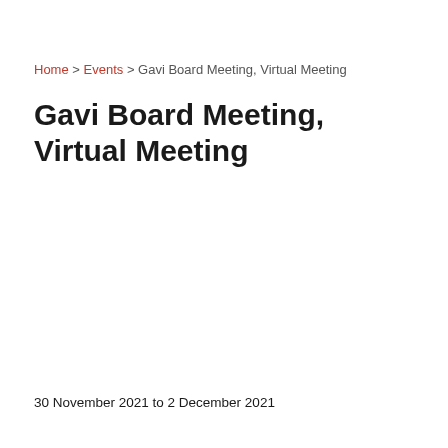Home > Events > Gavi Board Meeting, Virtual Meeting
Gavi Board Meeting, Virtual Meeting
30 November 2021 to 2 December 2021